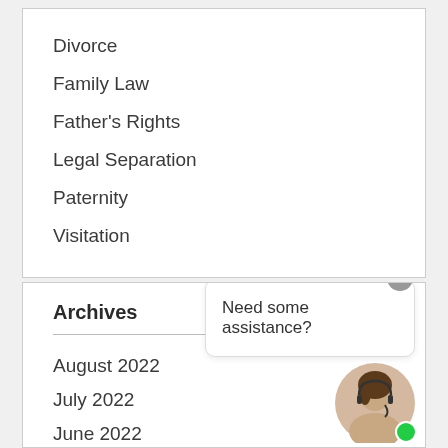Divorce
Family Law
Father's Rights
Legal Separation
Paternity
Visitation
Archives
August 2022
July 2022
June 2022